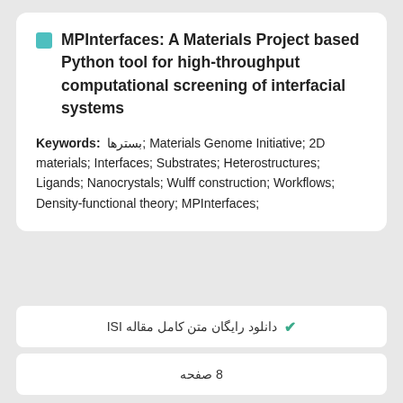MPInterfaces: A Materials Project based Python tool for high-throughput computational screening of interfacial systems
Keywords: بسترها; Materials Genome Initiative; 2D materials; Interfaces; Substrates; Heterostructures; Ligands; Nanocrystals; Wulff construction; Workflows; Density-functional theory; MPInterfaces;
دانلود رایگان متن کامل مقاله ISI
8 صفحه